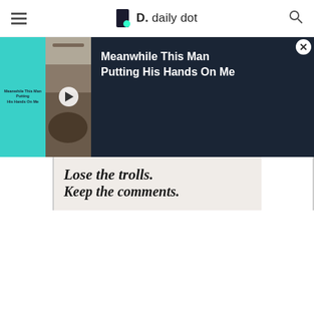daily dot
[Figure (screenshot): Video overlay panel showing a TikTok-style video thumbnail with teal background on the left, a video still with a play button in the center-left, and a dark panel on the right with text 'Meanwhile This Man Putting His Hands On Me' and a close button (X).]
[Figure (screenshot): Advertisement banner with light beige background showing text 'Lose the trolls. Keep the comments.' in large serif italic font, followed by 'It’s time to save online conversation.' and a dark 'Learn...' button.]